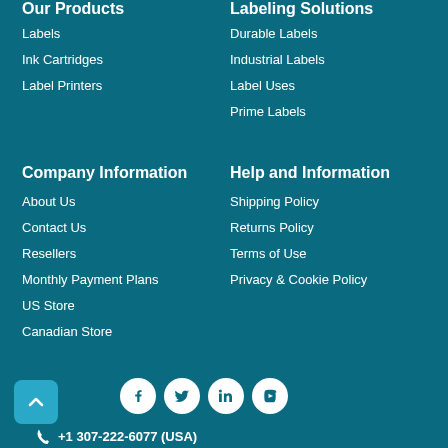Our Products
Labels
Ink Cartridges
Label Printers
Labeling Solutions
Durable Labels
Industrial Labels
Label Uses
Prime Labels
Company Information
About Us
Contact Us
Resellers
Monthly Payment Plans
US Store
Canadian Store
Help and Information
Shipping Policy
Returns Policy
Terms of Use
Privacy & Cookie Policy
[Figure (infographic): Social media icons: Facebook, Twitter, LinkedIn, YouTube]
+1 307-222-6077 (USA)